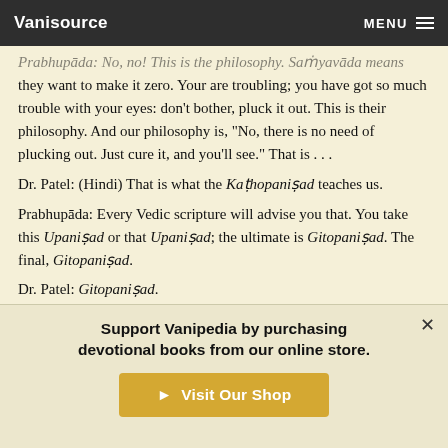Vanisource  MENU
Prabhupāda: No, no! This is the philosophy. Saṁyavāda means they want to make it zero. Your are troubling; you have got so much trouble with your eyes: don't bother, pluck it out. This is their philosophy. And our philosophy is, "No, there is no need of plucking out. Just cure it, and you'll see." That is . . .
Dr. Patel: (Hindi) That is what the Kaṭhopaniṣad teaches us.
Prabhupāda: Every Vedic scripture will advise you that. You take this Upaniṣad or that Upaniṣad; the ultimate is Gitopaniṣad. The final, Gitopaniṣad.
Dr. Patel: Gitopaniṣad.
Prabhupāda: Yes. Gītā is Upaniṣad.
Support Vanipedia by purchasing devotional books from our online store.
Visit Our Shop